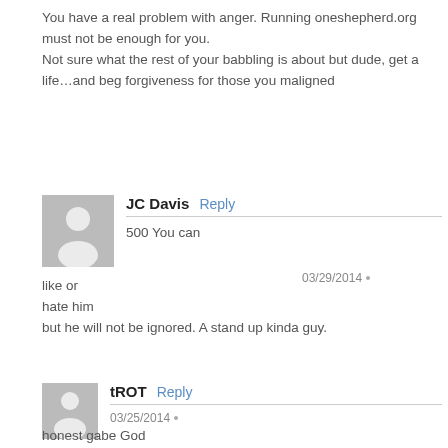You have a real problem with anger. Running oneshepherd.org must not be enough for you.
Not sure what the rest of your babbling is about but dude, get a life…and beg forgiveness for those you maligned
JC Davis  Reply
500 You can like or hate him  03/29/2014 •
but he will not be ignored. A stand up kinda guy.
tROT  Reply
03/25/2014 •
honest gabe God